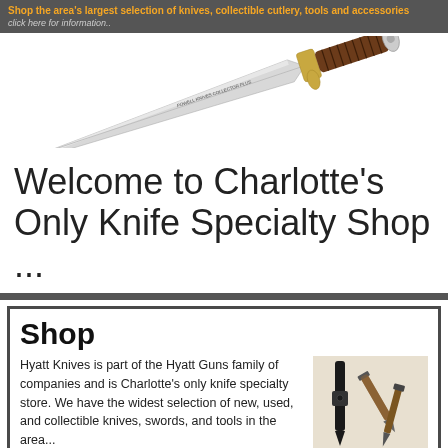Shop the area's largest selection of knives, collectible cutlery, tools and accessories
click here for information..
[Figure (photo): A large bowie/hunting knife with a silver blade, gold guard, and brown leather-wrapped handle with silver pommel, shown diagonally on a white background.]
Welcome to Charlotte's Only Knife Specialty Shop ...
Shop
Hyatt Knives is part of the Hyatt Guns family of companies and is Charlotte's only knife specialty store. We have the widest selection of new, used, and collectible knives, swords, and tools in the area...
[Figure (photo): A collection of knives including a black tactical/OTF knife and two brown wood-handled folding/fixed knives arranged together.]